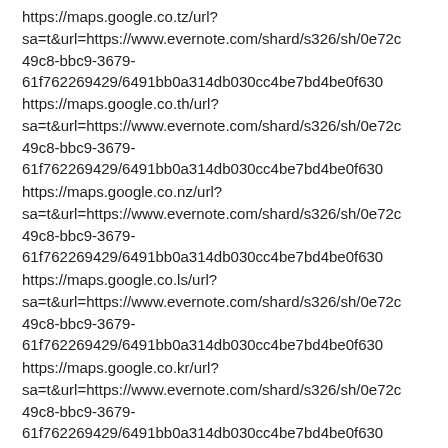https://maps.google.co.tz/url?sa=t&url=https://www.evernote.com/shard/s326/sh/0e72c49c8-bbc9-3679-61f762269429/6491bb0a314db030cc4be7bd4be0f630
https://maps.google.co.th/url?sa=t&url=https://www.evernote.com/shard/s326/sh/0e72c49c8-bbc9-3679-61f762269429/6491bb0a314db030cc4be7bd4be0f630
https://maps.google.co.nz/url?sa=t&url=https://www.evernote.com/shard/s326/sh/0e72c49c8-bbc9-3679-61f762269429/6491bb0a314db030cc4be7bd4be0f630
https://maps.google.co.ls/url?sa=t&url=https://www.evernote.com/shard/s326/sh/0e72c49c8-bbc9-3679-61f762269429/6491bb0a314db030cc4be7bd4be0f630
https://maps.google.co.kr/url?sa=t&url=https://www.evernote.com/shard/s326/sh/0e72c49c8-bbc9-3679-61f762269429/6491bb0a314db030cc4be7bd4be0f630
https://maps.google.co.ke/url?